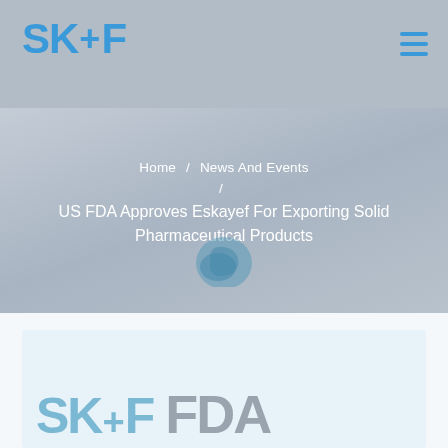SK+F
Home / News And Events
US FDA Approves Eskayef For Exporting Solid Pharmaceutical Products
[Figure (logo): SK+F and FDA combined logo watermark at bottom of page card]
[Figure (logo): Partial SK+F and FDA large logo text visible at bottom of article card]